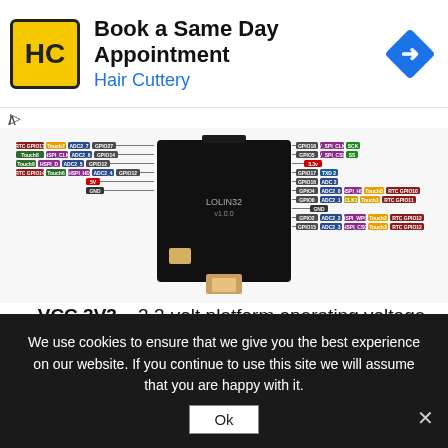[Figure (infographic): Hair Cuttery advertisement banner: Book a Same Day Appointment, with logo and navigation arrow icon]
[Figure (engineering-diagram): LOLIN32 ESP32 development board pinout diagram showing colorful pin labels for GPIO, ADC, HSPI, Touch, RTC, SPI and other functions on both sides of the board]
VCC 3V3 – 3.3-volt platform operating voltage pin, designed to power external peripherals.
CHIP_EN – ESP32 operating mode contact can
We use cookies to ensure that we give you the best experience on our website. If you continue to use this site we will assume that you are happy with it.